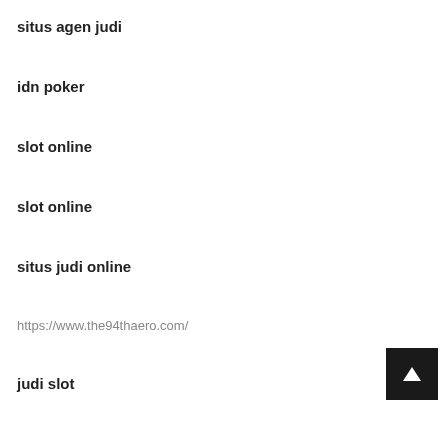situs agen judi
idn poker
slot online
slot online
situs judi online
https://www.the94thaero.com/
judi slot